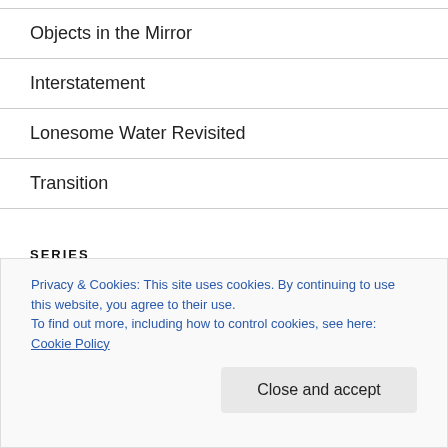Objects in the Mirror
Interstatement
Lonesome Water Revisited
Transition
SERIES
Poetry Blog Digest
Privacy & Cookies: This site uses cookies. By continuing to use this website, you agree to their use.
To find out more, including how to control cookies, see here: Cookie Policy
by Max Ernst